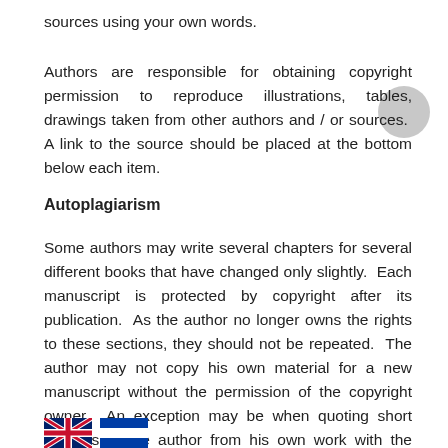sources using your own words.
Authors are responsible for obtaining copyright permission to reproduce illustrations, tables, drawings taken from other authors and / or sources.  A link to the source should be placed at the bottom below each item.
Autoplagiarism
Some authors may write several chapters for several different books that have changed only slightly.  Each manuscript is protected by copyright after its publication.  As the author no longer owns the rights to these sections, they should not be repeated.  The author may not copy his own material for a new manuscript without the permission of the copyright owner.  An exception may be when quoting short phrases of the author from his own work with the relevant links.